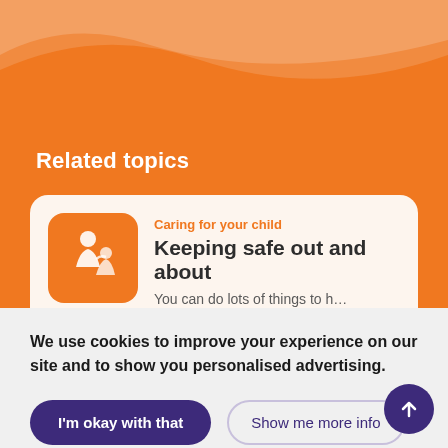Related topics
[Figure (illustration): Card showing a parent and child icon on an orange rounded square background, with category 'Caring for your child', title 'Keeping safe out and about', and description text 'You can do lots of things to help your chil...']
We use cookies to improve your experience on our site and to show you personalised advertising.
I'm okay with that
Show me more info